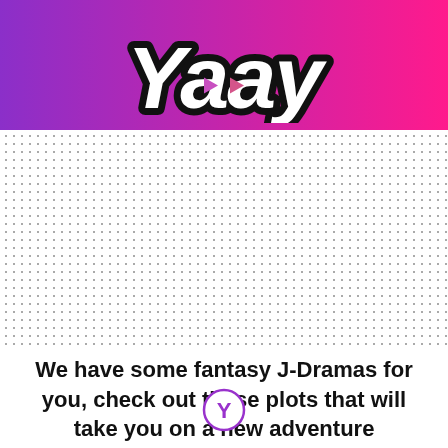[Figure (logo): Yaay logo with play button icons inside letters, white text with black outline, on purple-to-pink gradient background]
We have some fantasy J-Dramas for you, check out these plots that will take you on a new adventure
[Figure (logo): Small circular Y logo with purple border at bottom of page]